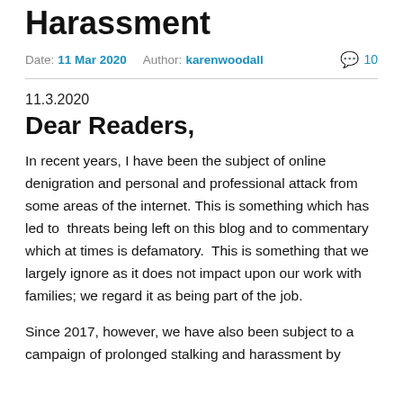Harassment
Date: 11 Mar 2020   Author: karenwoodall   💬 10
11.3.2020
Dear Readers,
In recent years, I have been the subject of online denigration and personal and professional attack from some areas of the internet. This is something which has led to threats being left on this blog and to commentary which at times is defamatory.  This is something that we largely ignore as it does not impact upon our work with families; we regard it as being part of the job.
Since 2017, however, we have also been subject to a campaign of prolonged stalking and harassment by